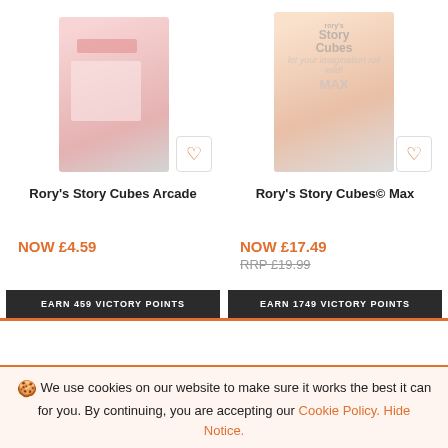[Figure (photo): Product photo of Rory's Story Cubes Arcade - pink box, blurred/faded]
[Figure (photo): Product photo of Rory's Story Cubes Max - peach/orange box with 'Story Cubes MAX' text, blurred]
Rory's Story Cubes Arcade
Rory's Story Cubes© Max
NOW £4.59
NOW £17.49
RRP £19.99
EARN 459 VICTORY POINTS
EARN 1749 VICTORY POINTS
We use cookies on our website to make sure it works the best it can for you. By continuing, you are accepting our Cookie Policy. Hide Notice.